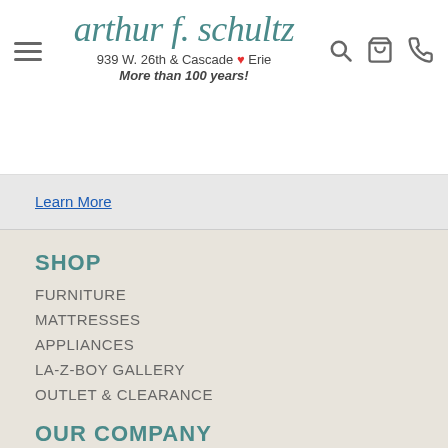arthur f. schultz
939 W. 26th & Cascade Erie
More than 100 years!
Learn More
SHOP
FURNITURE
MATTRESSES
APPLIANCES
LA-Z-BOY GALLERY
OUTLET & CLEARANCE
OUR COMPANY
ABOUT US
SERVICES
CONTACT US
RETURN & STORE POLICIES